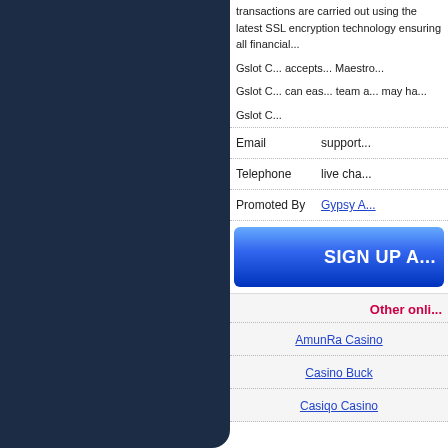transactions are carried out using the latest SSL encryption technology ensuring all financial...
Gslot C... accepts... Maestro...
Gslot C... can eas... team a... may ha...
Gslot C...
|  |  |
| --- | --- |
| Email | support... |
| Telephone | live cha... |
| Promoted By | Gypsy A... |
SIGN UP A...
Other onli...
AmunRa Casino
Casino Buck
Casiqo Casino